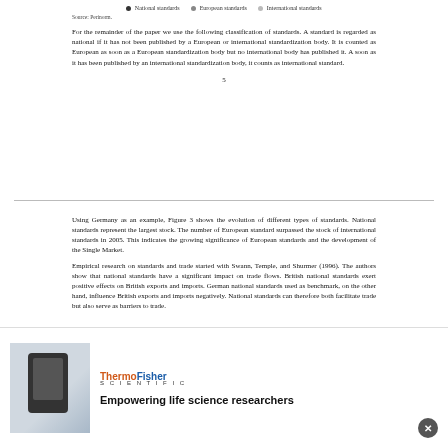■ National standards  ■ European standards  ■ International standards
Source: Perinorm.
For the remainder of the paper we use the following classification of standards. A standard is regarded as national if it has not been published by a European or international standardization body. It is counted as European as soon as a European standardization body but no international body has published it. A soon as it has been published by an international standardization body, it counts as international standard.
5
Using Germany as an example, Figure 3 shows the evolution of different types of standards. National standards represent the largest stock. The number of European standard surpassed the stock of international standards in 2005. This indicates the growing significance of European standards and the development of the Single Market.
Empirical research on standards and trade started with Swann, Temple, and Shurmer (1996). The authors show that national standards have a significant impact on trade flows. British national standards exert positive effects on British exports and imports. German national standards used as benchmark, on the other hand, influence British exports and imports negatively. National standards can therefore both facilitate trade but also serve as barriers to trade.
[Figure (other): ThermoFisher Scientific advertisement — Empowering life science researchers]